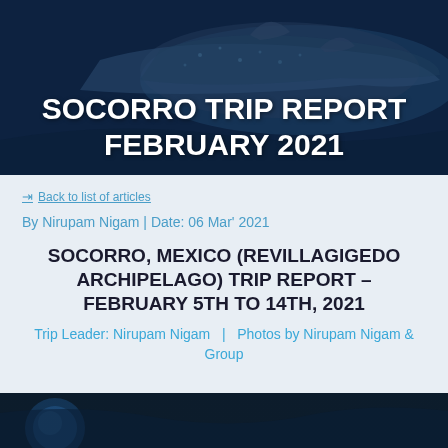[Figure (photo): Header image showing a whale shark or large fish underwater against a dark blue background, with white bold text overlay reading SOCORRO TRIP REPORT FEBRUARY 2021]
← Back to list of articles
By Nirupam Nigam | Date: 06 Mar' 2021
SOCORRO, MEXICO (REVILLAGIGEDO ARCHIPELAGO) TRIP REPORT – FEBRUARY 5TH TO 14TH, 2021
Trip Leader: Nirupam Nigam   |   Photos by Nirupam Nigam & Group
[Figure (photo): Bottom strip showing partial image of underwater scene with blue tones, partially cropped]